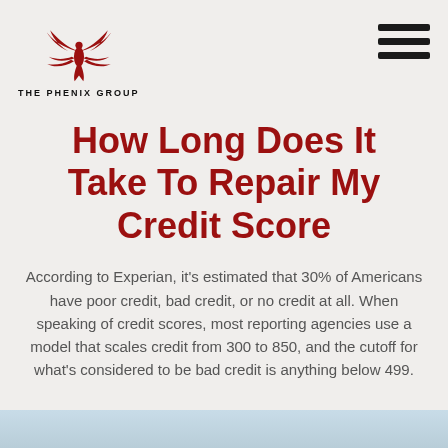[Figure (logo): The Phenix Group logo: red phoenix bird with spread wings above the text 'THE PHENIX GROUP']
How Long Does It Take To Repair My Credit Score
According to Experian, it's estimated that 30% of Americans have poor credit, bad credit, or no credit at all. When speaking of credit scores, most reporting agencies use a model that scales credit from 300 to 850, and the cutoff for what's considered to be bad credit is anything below 499.
[Figure (photo): Partial image visible at the bottom of the page, appears to be a light blue/sky toned image, content cut off]